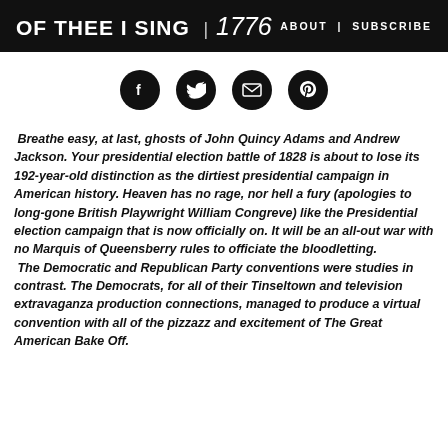OF THEE I SING | 1776   ABOUT | SUBSCRIBE
[Figure (infographic): Four circular social media icons (Facebook, Twitter, Email, Pinterest) on white background]
Breathe easy, at last, ghosts of John Quincy Adams and Andrew Jackson. Your presidential election battle of 1828 is about to lose its 192-year-old distinction as the dirtiest presidential campaign in American history. Heaven has no rage, nor hell a fury (apologies to long-gone British Playwright William Congreve) like the Presidential election campaign that is now officially on. It will be an all-out war with no Marquis of Queensberry rules to officiate the bloodletting.
 The Democratic and Republican Party conventions were studies in contrast. The Democrats, for all of their Tinseltown and television extravaganza production connections, managed to produce a virtual convention with all of the pizzazz and excitement of The Great American Bake Off.